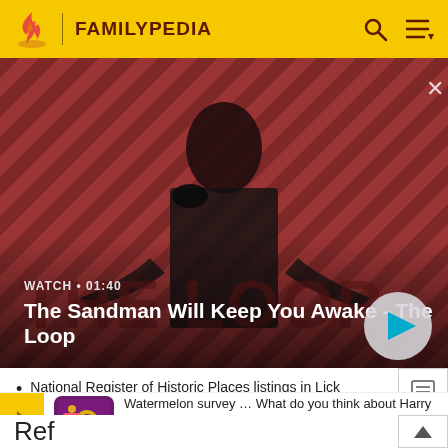FAMILYPEDIA
[Figure (screenshot): Promotional banner for 'The Sandman Will Keep You Awake - The Loop' showing a dark-cloaked figure with a raven on a striped red/dark background. Duration shown as WATCH • 01:40. Play button visible on the right.]
National Register of Historic Places listings in Lick
[Figure (screenshot): Survey advertisement: Watermelon survey graphic with text 'Watermelon survey … What do you think about Harry Styles?' and call to action 'TAKE THE SURVEY HERE']
Ref